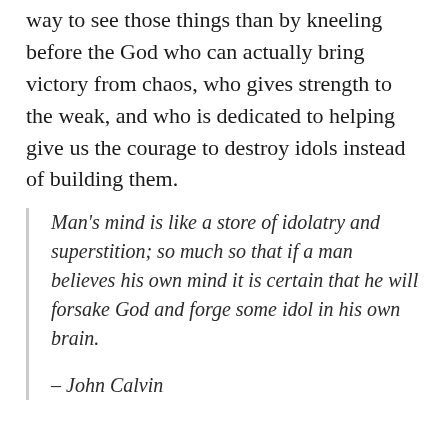way to see those things than by kneeling before the God who can actually bring victory from chaos, who gives strength to the weak, and who is dedicated to helping give us the courage to destroy idols instead of building them.
Man's mind is like a store of idolatry and superstition; so much so that if a man believes his own mind it is certain that he will forsake God and forge some idol in his own brain.
– John Calvin